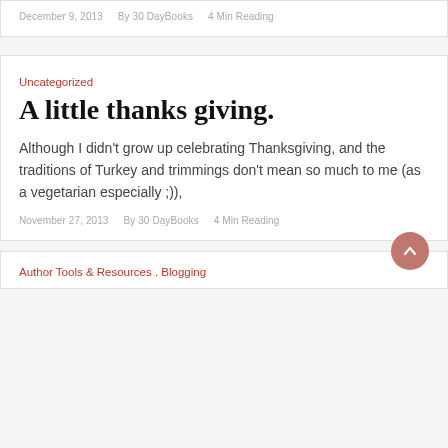December 9, 2013   By 30 DayBooks   4 Min Reading
Uncategorized
A little thanks giving.
Although I didn't grow up celebrating Thanksgiving, and the traditions of Turkey and trimmings don't mean so much to me (as a vegetarian especially ;)),
November 27, 2013   By 30 DayBooks   4 Min Reading
Author Tools & Resources . Blogging